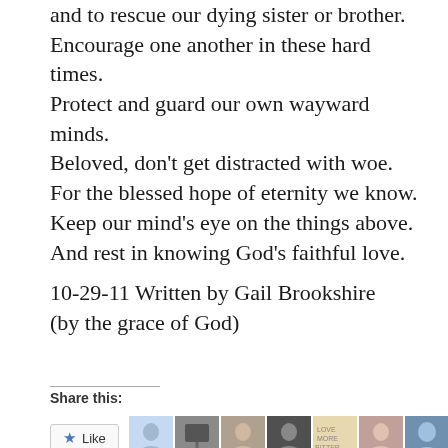and to rescue our dying sister or brother.
Encourage one another in these hard times.
Protect and guard our own wayward minds.
Beloved, don't get distracted with woe.
For the blessed hope of eternity we know.
Keep our mind's eye on the things above.
And rest in knowing God's faithful love.
10-29-11 Written by Gail Brookshire
(by the grace of God)
Share this:
[Figure (other): Like button with star icon and 7 blogger avatar thumbnails below]